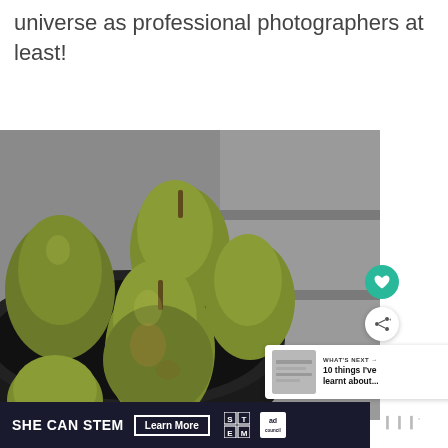universe as professional photographers at least!
[Figure (photo): Green pears in a dark bowl on a gray surface, close-up food photography]
[Figure (infographic): What's Next panel with thumbnail and text '10 things I've learnt about...']
[Figure (infographic): SHE CAN STEM Learn More advertisement banner with STEM grid logo and Ad Council logo]